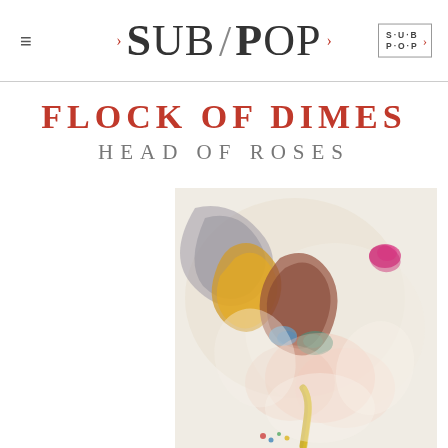SUB / POP
FLOCK OF DIMES
HEAD OF ROSES
[Figure (illustration): Abstract painting used as album artwork for Flock of Dimes 'Head of Roses'. Soft, layered washes of color — pale cream, grey, orange, gold, brown-red, blue, pink — suggesting floral or organic forms on a light background.]